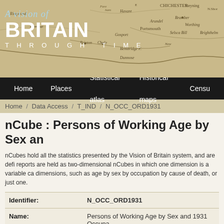[Figure (illustration): Historical map of southern England showing coastal areas including Chichester, Portsmouth, Brighton area, used as decorative header background for the Vision of Britain website]
A Vision of BRITAIN THROUGH TIME
Home / Places / Statistical atlas / Historical maps / Census
Home / Data Access / T_IND / N_OCC_ORD1931
nCube : Persons of Working Age by Sex an
nCubes hold all the statistics presented by the Vision of Britain system, and are defi reports are held as two-dimensional nCubes in which one dimension is a variable ca dimensions, such as age by sex by occupation by cause of death, or just one.
| Field | Value |
| --- | --- |
| Identifier: | N_OCC_ORD1931 |
| Name: | Persons of Working Age by Sex and 1931 Occupa |
| Type: | nCube (N) |
| Root unit: | England and Wales ( Show data ) |